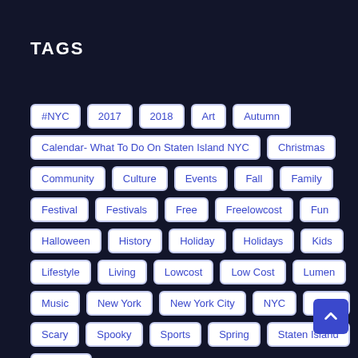TAGS
#NYC
2017
2018
Art
Autumn
Calendar- What To Do On Staten Island NYC
Christmas
Community
Culture
Events
Fall
Family
Festival
Festivals
Free
Freelowcost
Fun
Halloween
History
Holiday
Holidays
Kids
Lifestyle
Living
Lowcost
Low Cost
Lumen
Music
New York
New York City
NYC
Party
Scary
Spooky
Sports
Spring
Staten Island
Summer